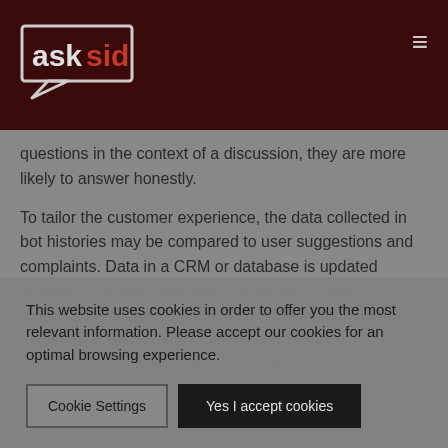asksid logo header
questions in the context of a discussion, they are more likely to answer honestly.
To tailor the customer experience, the data collected in bot histories may be compared to user suggestions and complaints. Data in a CRM or database is updated regularly, providing real-time insight into a client's thoughts and seeing what can be done to improve their experience. With chatbot satisfaction surveys, businesses can constantly improve their shortcomings with the metrics and
This website uses cookies in order to offer you the most relevant information. Please accept our cookies for an optimal browsing experience.
Cookie Settings
Yes I accept cookies